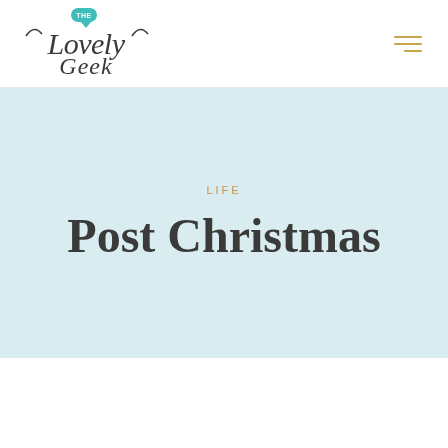[Figure (logo): The Lovely Geek blog logo - decorative script text with a small teal speech bubble containing 'THE' above the word 'Lovely Geek' in cursive script]
[Figure (other): Hamburger menu icon - three horizontal gold/amber lines of varying width, right-aligned]
LIFE
Post Christmas